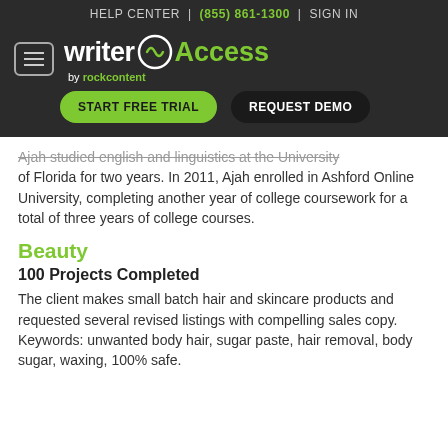HELP CENTER | (855) 861-1300 | SIGN IN
[Figure (logo): WriterAccess by rockcontent logo with hamburger menu, START FREE TRIAL and REQUEST DEMO buttons]
Ajah studied english and linguistics at the University of Florida for two years. In 2011, Ajah enrolled in Ashford Online University, completing another year of college coursework for a total of three years of college courses.
Beauty
100 Projects Completed
The client makes small batch hair and skincare products and requested several revised listings with compelling sales copy.
Keywords: unwanted body hair, sugar paste, hair removal, body sugar, waxing, 100% safe.